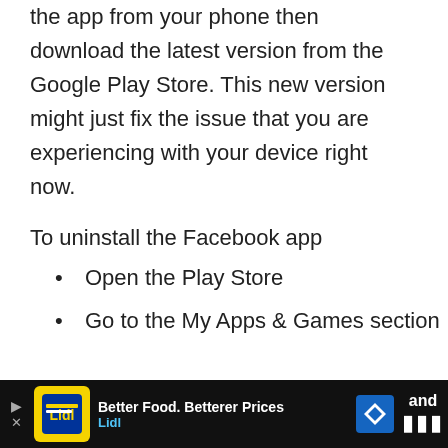the app from your phone then download the latest version from the Google Play Store. This new version might just fix the issue that you are experiencing with your device right now.
To uninstall the Facebook app
Open the Play Store
Go to the My Apps & Games section
[Figure (screenshot): Advertisement banner at the bottom of the page showing a Lidl ad with yellow icon, text 'Better Food. Betterer Prices' and 'Lidl', a navigation arrow icon, and partial text 'and' on the right.]